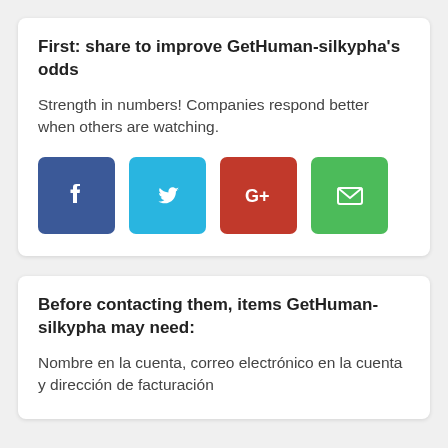First: share to improve GetHuman-silkypha's odds
Strength in numbers! Companies respond better when others are watching.
[Figure (infographic): Four social share buttons: Facebook (blue), Twitter (cyan), Google+ (red), Email (green)]
Before contacting them, items GetHuman-silkypha may need:
Nombre en la cuenta, correo electrónico en la cuenta y dirección de facturación